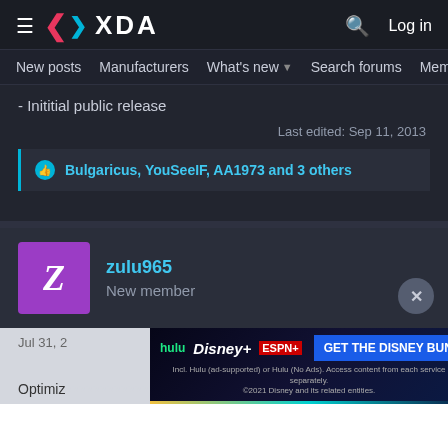XDA — New posts | Manufacturers | What's new | Search forums | Members
- Inititial public release
Last edited: Sep 11, 2013
Bulgaricus, YouSeeIF, AA1973 and 3 others
zulu965
New member
Optimiz... ...sellent idea.
[Figure (screenshot): Disney Bundle advertisement banner: Hulu, Disney+, ESPN+ logos with 'GET THE DISNEY BUNDLE' CTA button and fine print about Hulu ad-supported or no ads options.]